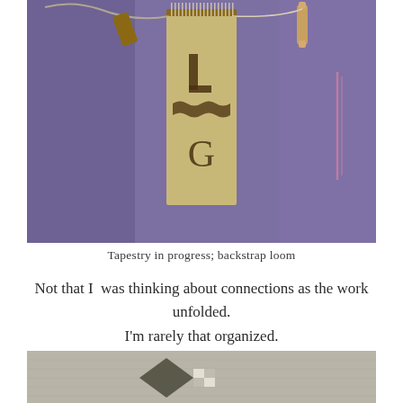[Figure (photo): A tapestry in progress on a backstrap loom. The loom features tightly strung vertical warp threads at the top, with a woven section visible in the center showing what appears to be text or letters woven into natural/beige colored fabric. Two wooden dowels or shuttles are visible at the top corners. The background is purple/mauve fabric.]
Tapestry in progress; backstrap loom
Not that I  was thinking about connections as the work unfolded.
I'm rarely that organized.
[Figure (photo): Close-up of a woven textile showing a dark arrowhead or triangle shape woven into a light gray/beige woven fabric background.]